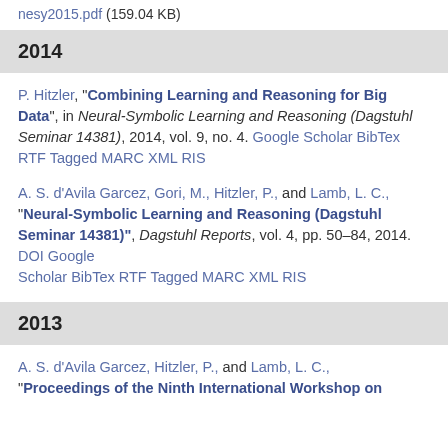nesy2015.pdf (159.04 KB)
2014
P. Hitzler, "Combining Learning and Reasoning for Big Data", in Neural-Symbolic Learning and Reasoning (Dagstuhl Seminar 14381), 2014, vol. 9, no. 4. Google Scholar BibTex RTF Tagged MARC XML RIS
A. S. d'Avila Garcez, Gori, M., Hitzler, P., and Lamb, L. C., "Neural-Symbolic Learning and Reasoning (Dagstuhl Seminar 14381)", Dagstuhl Reports, vol. 4, pp. 50–84, 2014. DOI Google Scholar BibTex RTF Tagged MARC XML RIS
2013
A. S. d'Avila Garcez, Hitzler, P., and Lamb, L. C., "Proceedings of the Ninth International Workshop on